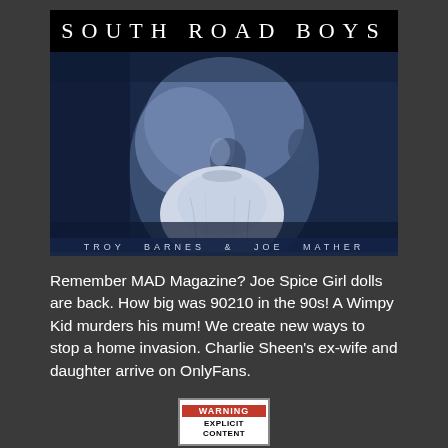SOUTH ROAD BOYS
[Figure (photo): Blue-tinted close-up photo of a man's face with a white beard, shown from nose to chin, dramatic lighting with dark navy/indigo tones]
TROY BARNES & JOE MATHER
Remember MAD Magazine? Joe Spice Girl dolls are back. How big was 90210 in the 90s! A Wimpy Kid murders his mum! We create new ways to stop a home invasion. Charlie Sheen's ex-wife and daughter arrive on OnlyFans.
[Figure (logo): Warning Explicit Content badge — red top bar with WARNING text, white field with EXPLICIT CONTENT in black]